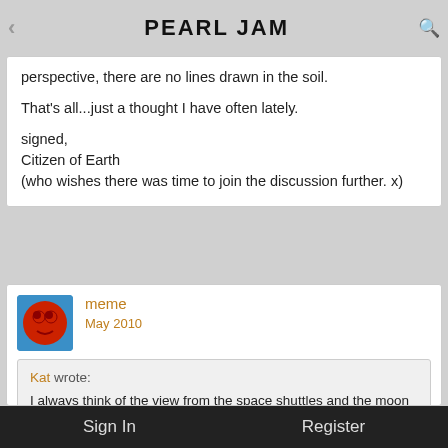PEARL JAM
I always think of the view from the space shuttles and the moon and how when you look at our beautiful planet from that perspective, there are no lines drawn in the soil.

That's all...just a thought I have often lately.

signed,
Citizen of Earth
(who wishes there was time to join the discussion further. x)
meme
May 2010
Kat wrote:
I always think of the view from the space shuttles and the moon and how when you look at our beautiful planet from that perspective, there are no lines drawn in the soil.

That's all...just a thought I have often lately.
Sign In    Register